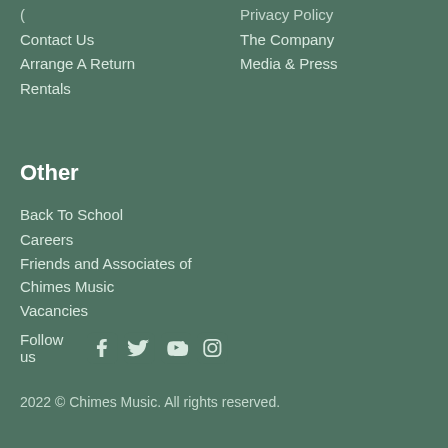( partial - cut off at top)
Contact Us
Arrange A Return
Rentals
Privacy Policy
The Company
Media & Press
Other
Back To School
Careers
Friends and Associates of Chimes Music
Vacancies
Follow us
2022 © Chimes Music. All rights reserved.